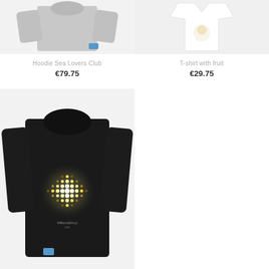[Figure (photo): Grey hoodie photographed from behind showing back and sleeves on white background]
[Figure (photo): White t-shirt with fruit print on light grey background]
Hoodie Sea Lovers Club
€79.75
T-shirt with fruit
€29.75
[Figure (photo): Black hoodie photographed from behind showing a glowing dot-grid sun graphic on the back, with small brand label at bottom hem]